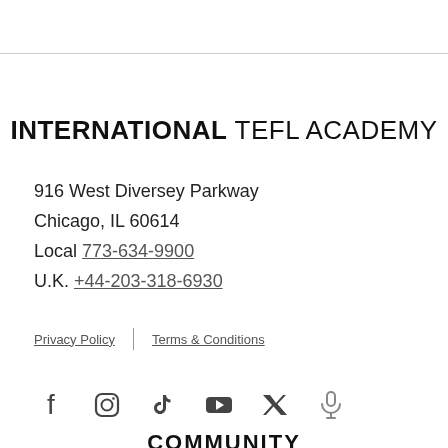INTERNATIONAL TEFL ACADEMY
916 West Diversey Parkway
Chicago, IL 60614
Local 773-634-9900
U.K. +44-203-318-6930
Privacy Policy | Terms & Conditions
[Figure (other): Social media icons: Facebook, Instagram, TikTok, YouTube, Twitter/X, Podcast/Microphone]
COMMUNITY